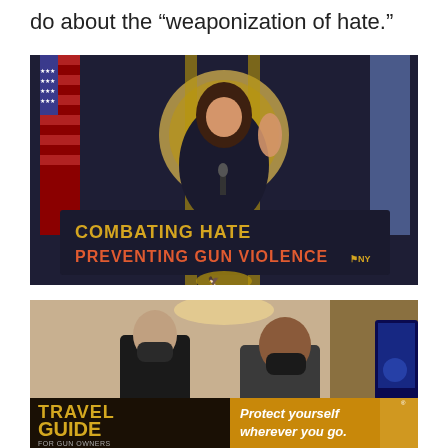do about the “weaponization of hate.”
[Figure (photo): Woman speaking at a podium with a sign reading 'COMBATING HATE PREVENTING GUN VIOLENCE' with New York State branding. American flag and New York State flag visible in background.]
[Figure (photo): Two people wearing masks in what appears to be a formal indoor setting. A 'TRAVEL GUIDE FOR GUN OWNERS' advertisement with text 'Protect yourself wherever you go.' and U.S. LawShield branding is overlaid at the bottom.]